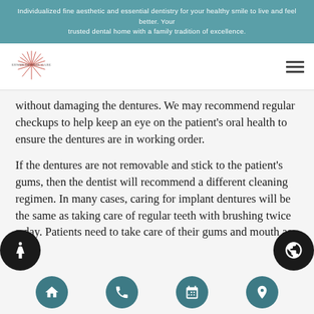Individualized fine aesthetic and essential dentistry for your healthy smile to live and feel better. Your trusted dental home with a family tradition of excellence.
[Figure (logo): Erwin Dental Care logo with decorative line art sunburst]
without damaging the dentures. We may recommend regular checkups to help keep an eye on the patient's oral health to ensure the dentures are in working order.
If the dentures are not removable and stick to the patient's gums, then the dentist will recommend a different cleaning regimen. In many cases, caring for implant dentures will be the same as taking care of regular teeth with brushing twice a day. Patients need to take care of their gums and mouth as well.
Navigation icons: home, phone, calendar, location